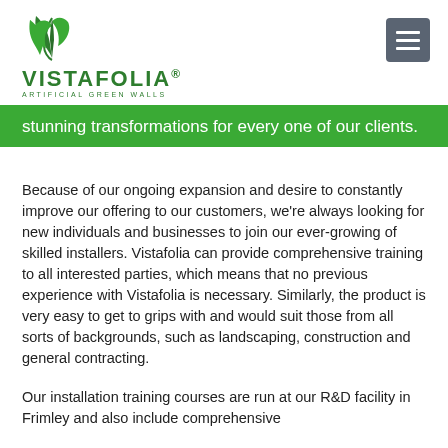VISTAFOLIA® ARTIFICIAL GREEN WALLS
stunning transformations for every one of our clients.
Because of our ongoing expansion and desire to constantly improve our offering to our customers, we're always looking for new individuals and businesses to join our ever-growing of skilled installers. Vistafolia can provide comprehensive training to all interested parties, which means that no previous experience with Vistafolia is necessary. Similarly, the product is very easy to get to grips with and would suit those from all sorts of backgrounds, such as landscaping, construction and general contracting.
Our installation training courses are run at our R&D facility in Frimley and also include comprehensive